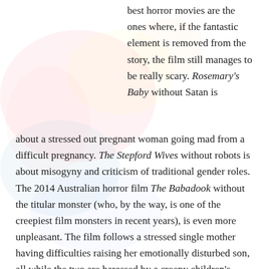best horror movies are the ones where, if the fantastic element is removed from the story, the film still manages to be really scary. Rosemary's Baby without Satan is about a stressed out pregnant woman going mad from a difficult pregnancy. The Stepford Wives without robots is about misogyny and criticism of traditional gender roles. The 2014 Australian horror film The Babadook without the titular monster (who, by the way, is one of the creepiest film monsters in recent years), is even more unpleasant. The film follows a stressed single mother having difficulties raising her emotionally disturbed son, all while the two are harassed by a creepy children's book monster. Without the monster, the film looks to be an examination of an abusive parent, her